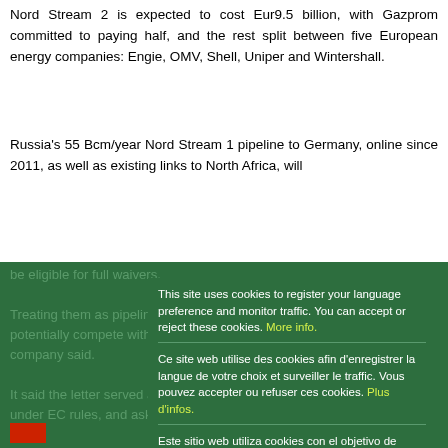Nord Stream 2 is expected to cost Eur9.5 billion, with Gazprom committed to paying half, and the rest split between five European energy companies: Engie, OMV, Shell, Uniper and Wintershall.
Russia's 55 Bcm/year Nord Stream 1 pipeline to Germany, online since 2011, as well as existing links to North Africa, will be eligible for full waivers.
Treating them as pipelines that currently would potentially compete with each other project company said.
It said the letter served as a notice of dispute to the EU under EC rules, and asked the EC to respond by May 13.
Under ECT rules, if the two parties in dispute cannot reach an amicable settlement within three months, the Nord Stream 2 project could seek international arbitration.
The EC confirmed Wednesday it had received the letter and would respond "in due course." It declined to comment on the content.
[Figure (screenshot): Cookie consent overlay dialog on a dark green background. Contains three language sections (English, French, Spanish) with cookie consent notices and yellow 'More info'/'Plus d'infos'/'Mayor información' links, separated by horizontal dividers, and a bright green 'Ok' button at the bottom.]